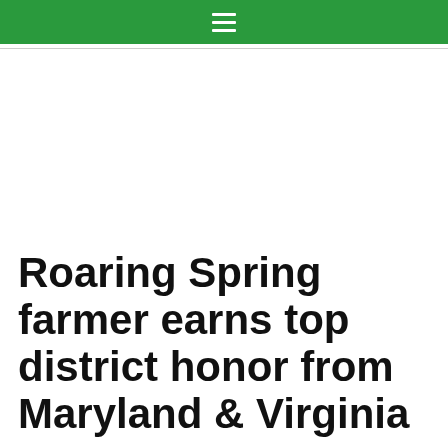≡
Roaring Spring farmer earns top district honor from Maryland & Virginia